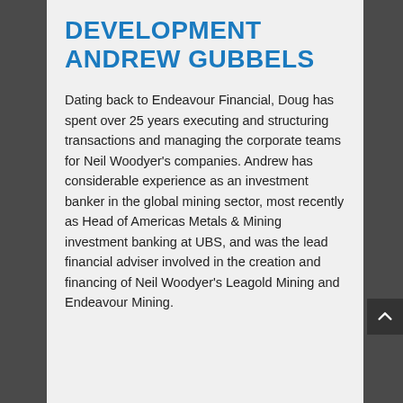DEVELOPMENT ANDREW GUBBELS
Dating back to Endeavour Financial, Doug has spent over 25 years executing and structuring transactions and managing the corporate teams for Neil Woodyer's companies. Andrew has considerable experience as an investment banker in the global mining sector, most recently as Head of Americas Metals & Mining investment banking at UBS, and was the lead financial adviser involved in the creation and financing of Neil Woodyer's Leagold Mining and Endeavour Mining.